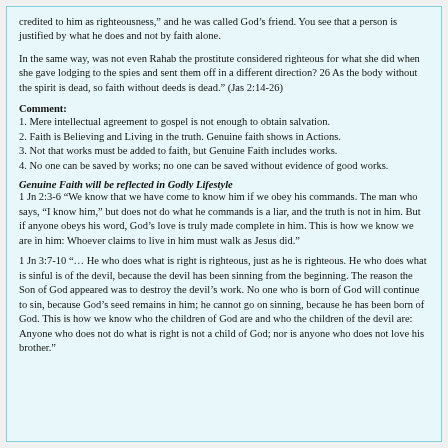credited to him as righteousness," and he was called God’s friend. You see that a person is justified by what he does and not by faith alone.
In the same way, was not even Rahab the prostitute considered righteous for what she did when she gave lodging to the spies and sent them off in a different direction? 26 As the body without the spirit is dead, so faith without deeds is dead.” (Jas 2:14-26)
Comment:
1. Mere intellectual agreement to gospel is not enough to obtain salvation.
2. Faith is Believing and Living in the truth. Genuine faith shows in Actions.
3. Not that works must be added to faith, but Genuine Faith includes works.
4. No one can be saved by works; no one can be saved without evidence of good works.
Genuine Faith will be reflected in Godly Lifestyle
1 Jn 2:3-6 “We know that we have come to know him if we obey his commands. The man who says, “I know him,” but does not do what he commands is a liar, and the truth is not in him. But if anyone obeys his word, God’s love is truly made complete in him. This is how we know we are in him: Whoever claims to live in him must walk as Jesus did.”
1 Jn 3:7-10 “… He who does what is right is righteous, just as he is righteous. He who does what is sinful is of the devil, because the devil has been sinning from the beginning. The reason the Son of God appeared was to destroy the devil’s work. No one who is born of God will continue to sin, because God’s seed remains in him; he cannot go on sinning, because he has been born of God. This is how we know who the children of God are and who the children of the devil are: Anyone who does not do what is right is not a child of God; nor is anyone who does not love his brother.”